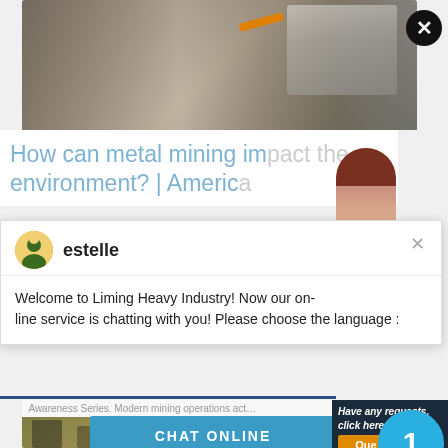[Figure (photo): Mining equipment and machinery with gravel/rock piles in the background, industrial mining site]
How can metal mining impact the environment? | Americ…
Awareness Series. Modern mining operations act…
[Figure (screenshot): Chat popup with agent named 'estelle' and message: Welcome to Liming Heavy Industry! Now our on-line service is chatting with you! Please choose the language :]
CHAT ONLINE
Have any requests, click here
Enquiry
limingjlmofen@sina.com
[Figure (photo): Mining vehicles/equipment on a construction or mining site]